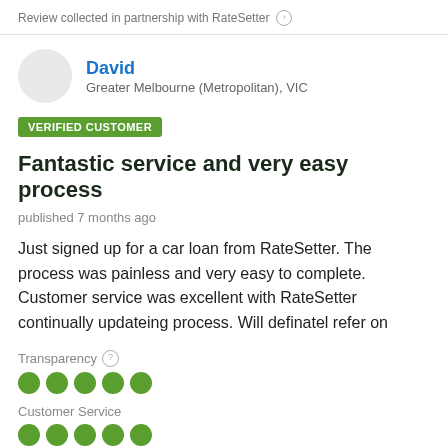Review collected in partnership with RateSetter ⓘ
David
Greater Melbourne (Metropolitan), VIC
VERIFIED CUSTOMER
Fantastic service and very easy process
published 7 months ago
Just signed up for a car loan from RateSetter. The process was painless and very easy to complete. Customer service was excellent with RateSetter continually updateing process. Will definatel refer on
Transparency
Customer Service
Overall